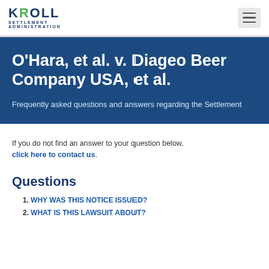KROLL SETTLEMENT ADMINISTRATION
O'Hara, et al. v. Diageo Beer Company USA, et al.
Frequently asked questions and answers regarding the Settlement
If you do not find an answer to your question below, click here to contact us.
Questions
1. WHY WAS THIS NOTICE ISSUED?
2. WHAT IS THIS LAWSUIT ABOUT?